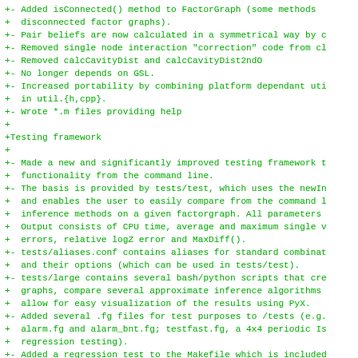+- Added isConnected() method to FactorGraph (some methods
+  disconnected factor graphs).
+- Pair beliefs are now calculated in a symmetrical way by c
+- Removed single node interaction "correction" code from cl
+- Removed calcCavityDist and calcCavityDist2ndO
+- No longer depends on GSL.
+- Increased portability by combining platform dependant uti
+  in util.{h,cpp}.
+- Wrote *.m files providing help
+
+Testing framework
+
+- Made a new and significantly improved testing framework t
+  functionality from the command line.
+- The basis is provided by tests/test, which uses the newIn
+  and enables the user to easily compare from the command l
+  inference methods on a given factorgraph. All parameters
+  Output consists of CPU time, average and maximum single v
+  errors, relative logZ error and MaxDiff().
+- tests/aliases.conf contains aliases for standard combinat
+  and their options (which can be used in tests/test).
+- tests/large contains several bash/python scripts that cre
+  graphs, compare several approximate inference algorithms
+  allow for easy visualization of the results using PyX.
+- Added several .fg files for test purposes to /tests (e.g.
+  alarm.fg and alarm_bnt.fg; testfast.fg, a 4x4 periodic Is
+  regression testing).
+- Added a regression test to the Makefile which is included
+  target.  It compares all inference methods on tests/testf
+  results stored in tests/testfast.out
+
+Miscellaneous